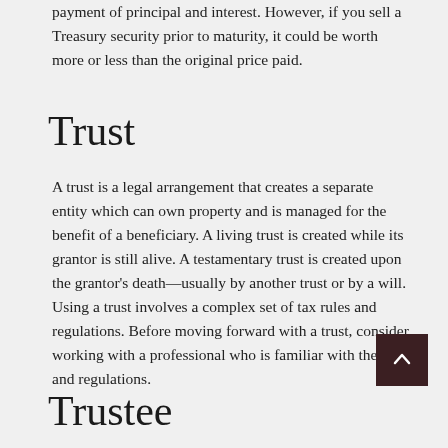payment of principal and interest. However, if you sell a Treasury security prior to maturity, it could be worth more or less than the original price paid.
Trust
A trust is a legal arrangement that creates a separate entity which can own property and is managed for the benefit of a beneficiary. A living trust is created while its grantor is still alive. A testamentary trust is created upon the grantor's death—usually by another trust or by a will. Using a trust involves a complex set of tax rules and regulations. Before moving forward with a trust, consider working with a professional who is familiar with the rules and regulations.
Trustee